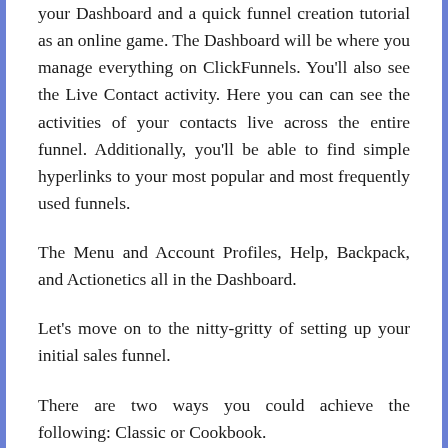your Dashboard and a quick funnel creation tutorial as an online game. The Dashboard will be where you manage everything on ClickFunnels. You'll also see the Live Contact activity. Here you can can see the activities of your contacts live across the entire funnel. Additionally, you'll be able to find simple hyperlinks to your most popular and most frequently used funnels.
The Menu and Account Profiles, Help, Backpack, and Actionetics all in the Dashboard.
Let's move on to the nitty-gritty of setting up your initial sales funnel.
There are two ways you could achieve the following: Classic or Cookbook.
Classic Mode is recommended for skilled users. Start by selecting a goal from three options such as collecting emails, selling products,